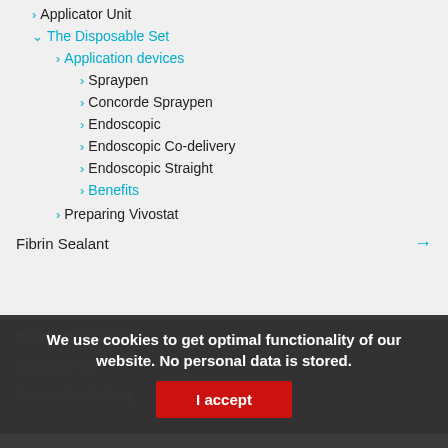Applicator Unit
The Disposable Set
Application devices
Spraypen
Concorde Spraypen
Endoscopic
Endoscopic Co-delivery
Endoscopic Straight
Benefits
Preparing Vivostat
Fibrin Sealant
Platelet Rich Fibrin
Obsidian ASG
Vivostat Co-Delivery
We use cookies to get optimal functionality of our website. No personal data is stored.